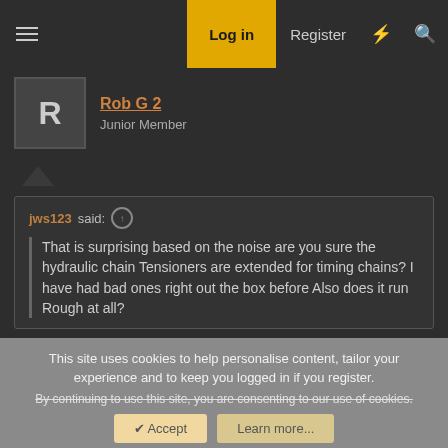Log in | Register
Rob G 2
Junior Member
jws123 said: ↑
That is surprising based on the noise are you sure the hydraulic chain Tensioners are extended for timing chains? I have had bad ones right out the box before Also does it run Rough at all?
The rod bearings looked excellent, and again, I plasti-gauged all of them anyway and they were all in the .0015 range (if memory serves), but anyway, within tolerance for sure.
This site uses cookies to help personalise content, tailor your experience and to keep you logged in if you register.
By continuing to use this site, you are consenting to our use of cookies.